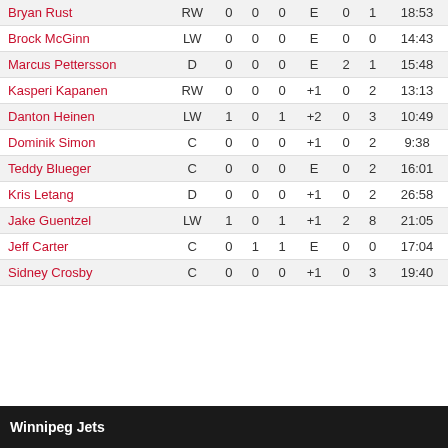| Player | Pos | G | A | P | +/- | PIM | S | TOI |
| --- | --- | --- | --- | --- | --- | --- | --- | --- |
| Bryan Rust | RW | 0 | 0 | 0 | E | 0 | 1 | 18:53 |
| Brock McGinn | LW | 0 | 0 | 0 | E | 0 | 0 | 14:43 |
| Marcus Pettersson | D | 0 | 0 | 0 | E | 2 | 1 | 15:48 |
| Kasperi Kapanen | RW | 0 | 0 | 0 | +1 | 0 | 2 | 13:13 |
| Danton Heinen | LW | 1 | 0 | 1 | +2 | 0 | 3 | 10:49 |
| Dominik Simon | C | 0 | 0 | 0 | +1 | 0 | 2 | 9:38 |
| Teddy Blueger | C | 0 | 0 | 0 | E | 0 | 2 | 16:01 |
| Kris Letang | D | 0 | 0 | 0 | +1 | 0 | 2 | 26:58 |
| Jake Guentzel | LW | 1 | 0 | 1 | +1 | 2 | 8 | 21:05 |
| Jeff Carter | C | 0 | 1 | 1 | E | 0 | 0 | 17:04 |
| Sidney Crosby | C | 0 | 0 | 0 | +1 | 0 | 3 | 19:40 |
Winnipeg Jets